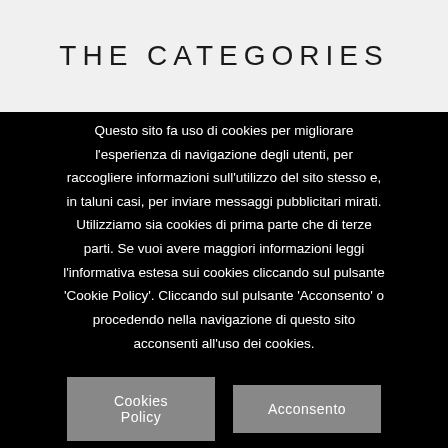THE CATEGORIES
Questo sito fa uso di cookies per migliorare l'esperienza di navigazione degli utenti, per raccogliere informazioni sull'utilizzo del sito stesso e, in taluni casi, per inviare messaggi pubblicitari mirati. Utilizziamo sia cookies di prima parte che di terze parti. Se vuoi avere maggiori informazioni leggi l'informativa estesa sui cookies cliccando sul pulsante 'Cookie Policy'. Cliccando sul pulsante 'Acconsento' o procedendo nella navigazione di questo sito acconsenti all'uso dei cookies.
Cookies Policy
Acconsento